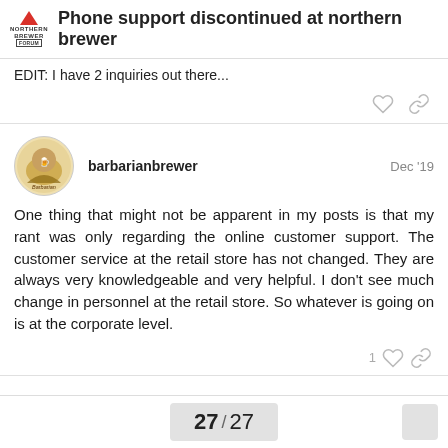Phone support discontinued at northern brewer
EDIT: I have 2 inquiries out there...
barbarianbrewer — Dec '19
One thing that might not be apparent in my posts is that my rant was only regarding the online customer support. The customer service at the retail store has not changed. They are always very knowledgeable and very helpful. I don't see much change in personnel at the retail store. So whatever is going on is at the corporate level.
27 / 27